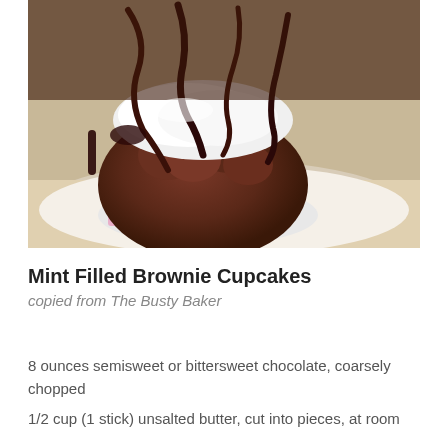[Figure (photo): Close-up photo of a mint filled brownie cupcake with white cream frosting and dark chocolate sauce drizzled on top, sitting in a colorful cupcake liner on a white plate]
Mint Filled Brownie Cupcakes
copied from The Busty Baker
8 ounces semisweet or bittersweet chocolate, coarsely chopped
1/2 cup (1 stick) unsalted butter, cut into pieces, at room temperature